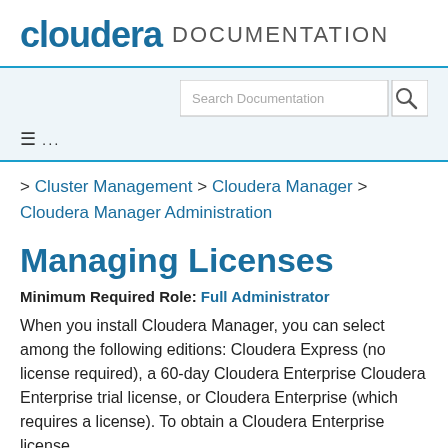cloudera DOCUMENTATION
[Figure (screenshot): Search Documentation input box with search icon button]
≡ ...
> Cluster Management > Cloudera Manager > Cloudera Manager Administration
Managing Licenses
Minimum Required Role: Full Administrator
When you install Cloudera Manager, you can select among the following editions: Cloudera Express (no license required), a 60-day Cloudera Enterprise Cloudera Enterprise trial license, or Cloudera Enterprise (which requires a license). To obtain a Cloudera Enterprise license